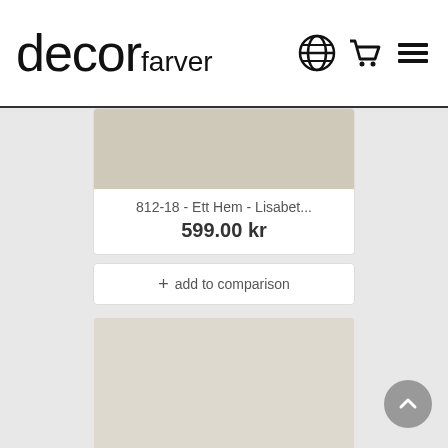decor farver
[Figure (screenshot): Product color swatch showing a warm grey-beige paint color]
812-18 - Ett Hem - Lisabet...
599.00 kr
+ add to comparison
[Figure (screenshot): Second product color swatch showing a light warm beige paint color]